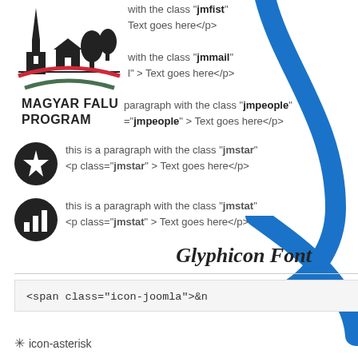[Figure (logo): Magyar Falu Program logo with church, house and tree silhouette and Hungarian flag arc]
with the class "jmfist"
Text goes here</p>
with the class "jmmail"
l" > Text goes here</p>
paragraph with the class "jmpeople"
="jmpeople" > Text goes here</p>
[Figure (illustration): Black circle with white star icon representing jmstar class]
this is a paragraph with the class "jmstar"
<p class="jmstar" > Text goes here</p>
[Figure (illustration): Black circle with white bar chart icon representing jmstat class]
this is a paragraph with the class "jmstat"
<p class="jmstat" > Text goes here</p>
Glyphicon Font
<span class="icon-joomla">&n
[Figure (logo): Széchenyi 2020 logo with EU flags and Befektetés a jövőbe text]
✳ icon-asterisk